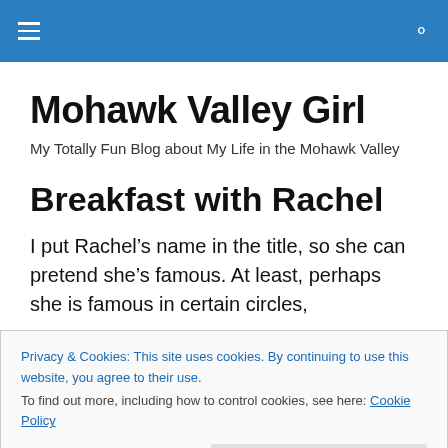Mohawk Valley Girl [navigation bar with hamburger menu and search icon]
Mohawk Valley Girl
My Totally Fun Blog about My Life in the Mohawk Valley
Breakfast with Rachel
I put Rachel's name in the title, so she can pretend she's famous. At least, perhaps she is famous in certain circles,
Privacy & Cookies: This site uses cookies. By continuing to use this website, you agree to their use.
To find out more, including how to control cookies, see here: Cookie Policy
for once (I hope) to write a little about my breakfast with